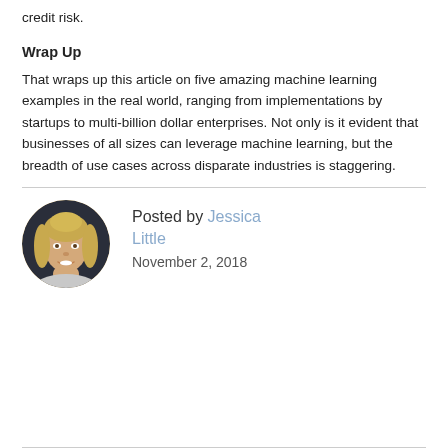credit risk.
Wrap Up
That wraps up this article on five amazing machine learning examples in the real world, ranging from implementations by startups to multi-billion dollar enterprises. Not only is it evident that businesses of all sizes can leverage machine learning, but the breadth of use cases across disparate industries is staggering.
[Figure (photo): Circular profile photo of Jessica Little, a blonde woman smiling]
Posted by Jessica Little
November 2, 2018